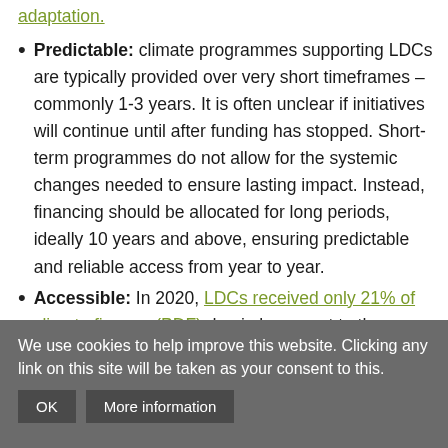adaptation.
Predictable: climate programmes supporting LDCs are typically provided over very short timeframes – commonly 1-3 years. It is often unclear if initiatives will continue until after funding has stopped. Short-term programmes do not allow for the systemic changes needed to ensure lasting impact. Instead, financing should be allocated for long periods, ideally 10 years and above, ensuring predictable and reliable access from year to year.
Accessible: In 2020, LDCs received only 21% of climate finance (PDF) due in large part to the cumbersome and resource draining processing for accessing climate finance.
We use cookies to help improve this website. Clicking any link on this site will be taken as your consent to this.